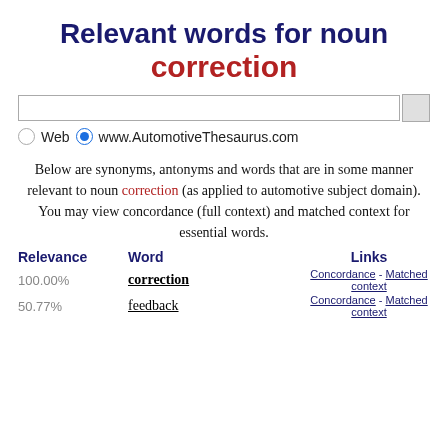Relevant words for noun correction
[Figure (screenshot): Search bar with radio buttons for Web and www.AutomotiveThesaurus.com]
Below are synonyms, antonyms and words that are in some manner relevant to noun correction (as applied to automotive subject domain). You may view concordance (full context) and matched context for essential words.
| Relevance | Word | Links |
| --- | --- | --- |
| 100.00% | correction | Concordance - Matched context |
| 50.77% | feedback | Concordance - Matched context |